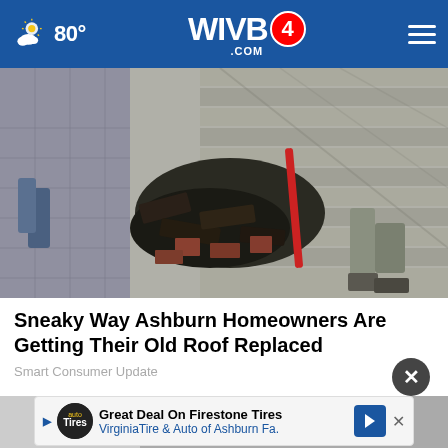WIVB4.COM | 80°
[Figure (photo): Workers removing old shingles from a roof, showing damaged and torn-up roofing material with a pry tool in use]
Sneaky Way Ashburn Homeowners Are Getting Their Old Roof Replaced
Smart Consumer Update
[Figure (infographic): Advertisement: Great Deal On Firestone Tires - Virginia Tire & Auto of Ashburn Fa.]